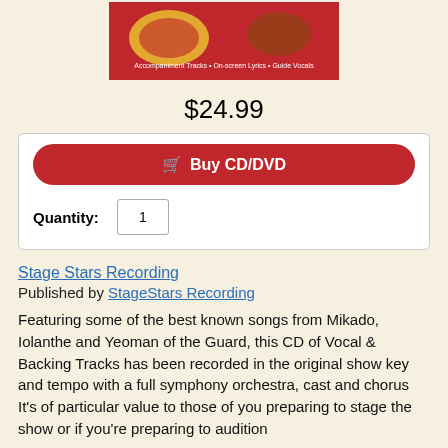[Figure (illustration): Product image of a CD/DVD with red background featuring fans and other decorative elements, with text 'Accompaniment Tracks • On-screen Lyrics • Guide Vocals']
$24.99
Buy CD/DVD
Quantity: 1
Stage Stars Recording
Published by StageStars Recording
Featuring some of the best known songs from Mikado, Iolanthe and Yeoman of the Guard, this CD of Vocal & Backing Tracks has been recorded in the original show key and tempo with a full symphony orchestra, cast and chorus
It's of particular value to those of you preparing to stage the show or if you're preparing to audition